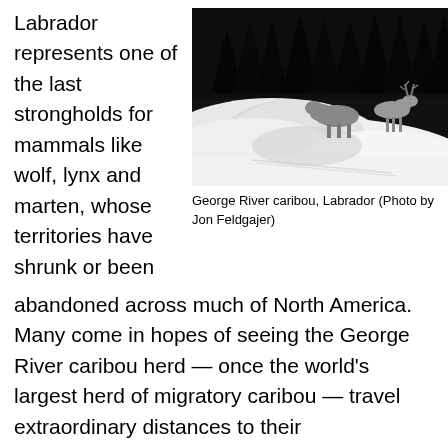Labrador represents one of the last strongholds for mammals like wolf, lynx and marten, whose territories have shrunk or been abandoned across much of North America. Many come in hopes of seeing the George River caribou herd — once the world's largest herd of migratory caribou — travel extraordinary distances to their
[Figure (photo): George River caribou standing on snow with dark forest in background, Labrador]
George River caribou, Labrador (Photo by Jon Feldgajer)